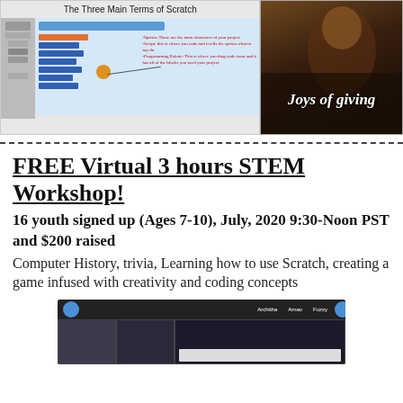[Figure (screenshot): Screenshot of a Scratch programming tutorial slide titled 'The Three Main Terms of Scratch' showing the Scratch interface with blocks, sidebar, and text labels for Sprites, Script, and Programming Palette in red]
[Figure (photo): Dark photo of a person with text overlay reading 'Joys of giving']
FREE Virtual 3 hours STEM Workshop!
16 youth signed up (Ages 7-10), July, 2020 9:30-Noon PST and $200 raised
Computer History, trivia, Learning how to use Scratch, creating a game infused with creativity and coding concepts
[Figure (screenshot): Screenshot of a Zoom video call with multiple participants including Architha, Arnav, and Fuzzy]